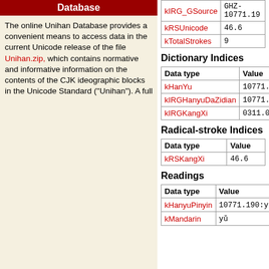Database
The online Unihan Database provides a convenient means to access data in the current Unicode release of the file Unihan.zip, which contains normative and informative information on the contents of the CJK ideographic blocks in the Unicode Standard ("Unihan"). A full
| Data type | Value |
| --- | --- |
| kIRG_GSource | GHZ-10771.19 |
| kRSUnicode | 46.6 |
| kTotalStrokes | 9 |
Dictionary Indices
| Data type | Value |
| --- | --- |
| kHanYu | 10771.190 |
| kIRGHanyuDaZidian | 10771.190 |
| kIRGKangXi | 0311.061 |
Radical-stroke Indices
| Data type | Value |
| --- | --- |
| kRSKangXi | 46.6 |
Readings
| Data type | Value |
| --- | --- |
| kHanyuPinyin | 10771.190:yǔ |
| kMandarin | yǔ |